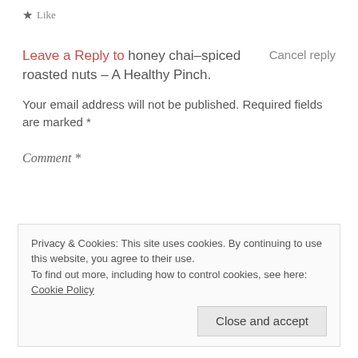★ Like
Leave a Reply to honey chai–spiced roasted nuts – A Healthy Pinch.    Cancel reply
Your email address will not be published. Required fields are marked *
Comment *
Privacy & Cookies: This site uses cookies. By continuing to use this website, you agree to their use.
To find out more, including how to control cookies, see here: Cookie Policy
Close and accept